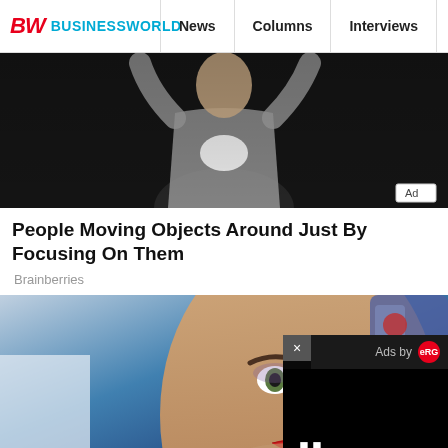BW BUSINESSWORLD | News | Columns | Interviews | BW
[Figure (photo): Person in grey t-shirt with arms raised, holding a white cloth object near their chest, against a dark background. Ad badge visible in bottom right corner.]
People Moving Objects Around Just By Focusing On Them
Brainberries
[Figure (photo): Close-up of a humanoid robot face (Sophia robot) with realistic skin, makeup, and mechanical components visible on back of head. Blue background. An ad video overlay appears in the bottom right with close (x) button, 'Ads by eRG' text, and a pause button symbol.]